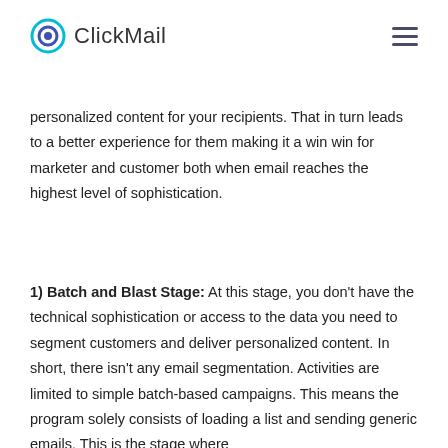ClickMail
personalized content for your recipients. That in turn leads to a better experience for them making it a win win for marketer and customer both when email reaches the highest level of sophistication.
1) Batch and Blast Stage: At this stage, you don't have the technical sophistication or access to the data you need to segment customers and deliver personalized content. In short, there isn't any email segmentation. Activities are limited to simple batch-based campaigns. This means the program solely consists of loading a list and sending generic emails. This is the stage where